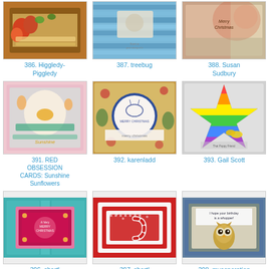[Figure (photo): Handmade card with autumn theme, flowers and ribbons]
386. Higgledy-Piggledy
[Figure (photo): Handmade card with blue wavy lines and a small image]
387. treebug
[Figure (photo): Handmade Christmas card with text and decorative elements]
388. Susan Sudbury
[Figure (photo): Handmade card with sunshine and sunflowers, pink background]
391. RED OBSESSION CARDS: Sunshine Sunflowers
[Figure (photo): Handmade Christmas card with deer in circle, floral background]
392. karenladd
[Figure (photo): Handmade rainbow star card with butterfly]
393. Gail Scott
[Figure (photo): Handmade teal Christmas card with Very Merry Christmas text]
396. shartl
[Figure (photo): Handmade red Christmas card with candy cane]
397. shartl
[Figure (photo): Handmade birthday card with owl and I hope your birthday is a whopper text]
398. myasperation